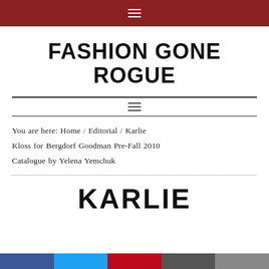≡
FASHION GONE ROGUE
You are here: Home / Editorial / Karlie Kloss for Bergdorf Goodman Pre-Fall 2010 Catalogue by Yelena Yemchuk
KARLIE